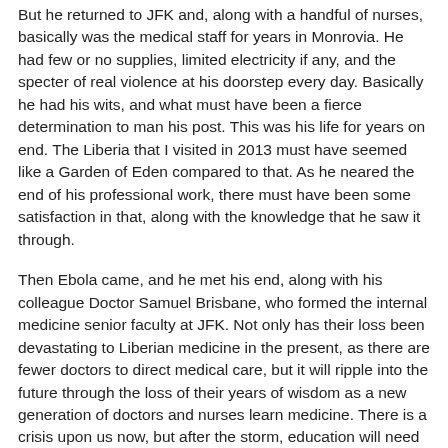But he returned to JFK and, along with a handful of nurses, basically was the medical staff for years in Monrovia. He had few or no supplies, limited electricity if any, and the specter of real violence at his doorstep every day. Basically he had his wits, and what must have been a fierce determination to man his post. This was his life for years on end. The Liberia that I visited in 2013 must have seemed like a Garden of Eden compared to that. As he neared the end of his professional work, there must have been some satisfaction in that, along with the knowledge that he saw it through.
Then Ebola came, and he met his end, along with his colleague Doctor Samuel Brisbane, who formed the internal medicine senior faculty at JFK. Not only has their loss been devastating to Liberian medicine in the present, as there are fewer doctors to direct medical care, but it will ripple into the future through the loss of their years of wisdom as a new generation of doctors and nurses learn medicine. There is a crisis upon us now, but after the storm, education will need to resume. I went there as an educator and was treated with kindness and deference. Now, especially with Borbor gone, I go to honor that commitment that he made to his profession and to the next generation. I want to assist in any way I can.